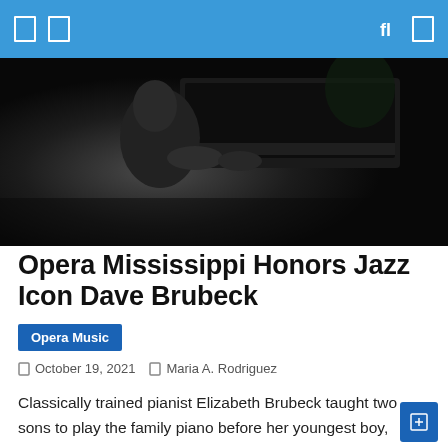Navigation header bar with icons
[Figure (photo): Black and white photograph of a person at a piano, likely Dave Brubeck, dark moody lighting]
Opera Mississippi Honors Jazz Icon Dave Brubeck
Opera Music
October 19, 2021   Maria A. Rodriguez
Classically trained pianist Elizabeth Brubeck taught two sons to play the family piano before her youngest boy, David, embraced the instrument, tells the story, but she couldn't have known then that he would be the one who would create such a name for himself in the